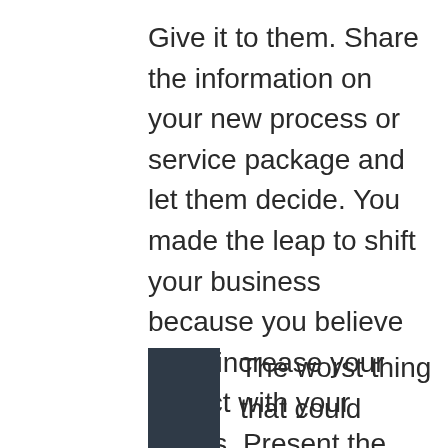Give it to them. Share the information on your new process or service package and let them decide. You made the leap to shift your business because you believe it will increase your impact with your clients. Present the facts, and trust that they will make the best decision for their business.
The worst thing that could